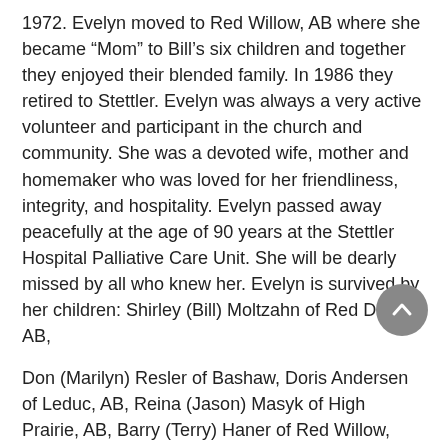1972. Evelyn moved to Red Willow, AB where she became “Mom” to Bill’s six children and together they enjoyed their blended family. In 1986 they retired to Stettler. Evelyn was always a very active volunteer and participant in the church and community. She was a devoted wife, mother and homemaker who was loved for her friendliness, integrity, and hospitality. Evelyn passed away peacefully at the age of 90 years at the Stettler Hospital Palliative Care Unit. She will be dearly missed by all who knew her. Evelyn is survived by her children: Shirley (Bill) Moltzahn of Red Deer, AB,
Don (Marilyn) Resler of Bashaw, Doris Andersen of Leduc, AB, Reina (Jason) Masyk of High Prairie, AB, Barry (Terry) Haner of Red Willow, Marion (Garth)
Bancroft of Westlock, AB, Lorne (Linda) Haner of Red Willow, Glen (Denise) Haner of St. Albert, AB, Yvonne